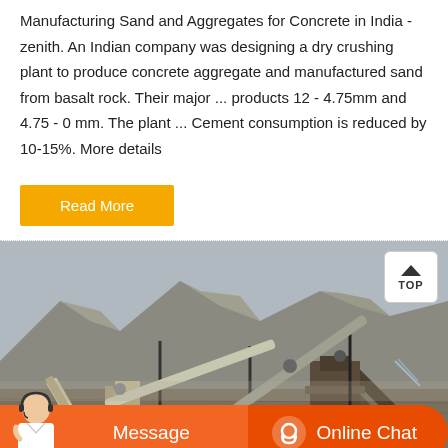Manufacturing Sand and Aggregates for Concrete in India - zenith. An Indian company was designing a dry crushing plant to produce concrete aggregate and manufactured sand from basalt rock. Their major ... products 12 - 4.75mm and 4.75 - 0 mm. The plant ... Cement consumption is reduced by 10-15%. More details
[Figure (other): Button labeled 'Read More' with yellow/amber background]
[Figure (photo): Photograph of a quarry/stone crushing plant with conveyor belts and machinery set against a mountainous landscape]